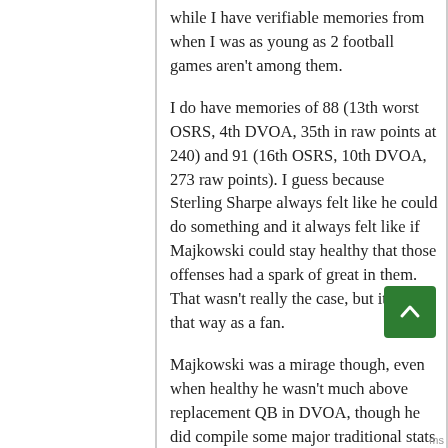while I have verifiable memories from when I was as young as 2 football games aren't among them.
I do have memories of 88 (13th worst OSRS, 4th DVOA, 35th in raw points at 240) and 91 (16th OSRS, 10th DVOA, 273 raw points). I guess because Sterling Sharpe always felt like he could do something and it always felt like if Majkowski could stay healthy that those offenses had a spark of great in them. That wasn't really the case, but it felt that way as a fan.
Majkowski was a mirage though, even when healthy he wasn't much above replacement QB in DVOA, though he did compile some major traditional stats when healthy and naive fans (like